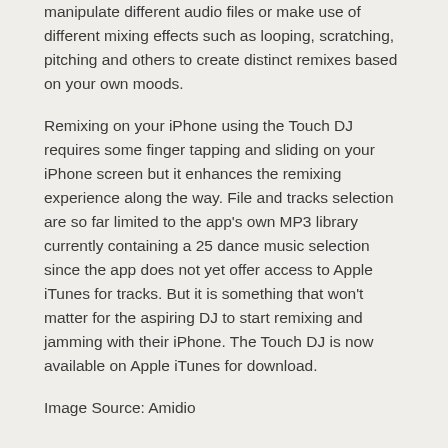manipulate different audio files or make use of different mixing effects such as looping, scratching, pitching and others to create distinct remixes based on your own moods.
Remixing on your iPhone using the Touch DJ requires some finger tapping and sliding on your iPhone screen but it enhances the remixing experience along the way. File and tracks selection are so far limited to the app's own MP3 library currently containing a 25 dance music selection since the app does not yet offer access to Apple iTunes for tracks. But it is something that won't matter for the aspiring DJ to start remixing and jamming with their iPhone. The Touch DJ is now available on Apple iTunes for download.
Image Source: Amidio